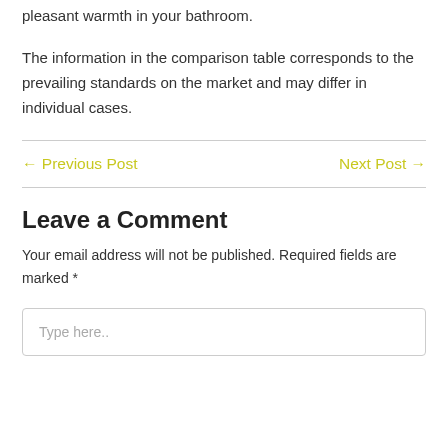pleasant warmth in your bathroom.
The information in the comparison table corresponds to the prevailing standards on the market and may differ in individual cases.
← Previous Post
Next Post →
Leave a Comment
Your email address will not be published. Required fields are marked *
Type here..